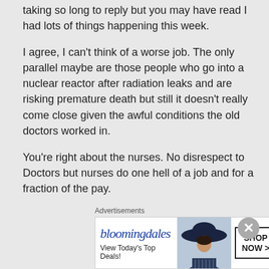taking so long to reply but you may have read I had lots of things happening this week.
I agree, I can't think of a worse job. The only parallel maybe are those people who go into a nuclear reactor after radiation leaks and are risking premature death but still it doesn't really come close given the awful conditions the old doctors worked in.
You're right about the nurses. No disrespect to Doctors but nurses do one hell of a job and for a fraction of the pay.
Advertisements
[Figure (illustration): Bloomingdale's advertisement banner with logo, 'View Today's Top Deals!' tagline, an image of a woman in a hat, and a 'SHOP NOW >' button.]